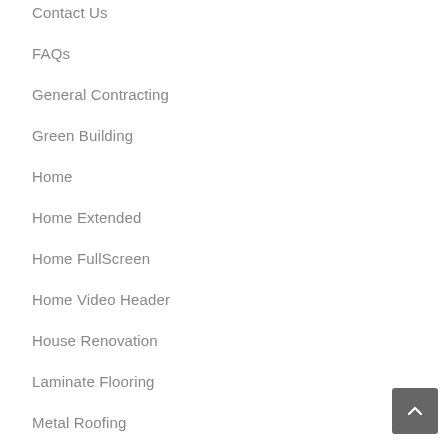Contact Us
FAQs
General Contracting
Green Building
Home
Home Extended
Home FullScreen
Home Video Header
House Renovation
Laminate Flooring
Metal Roofing
Millwork & Cabinet
My Account